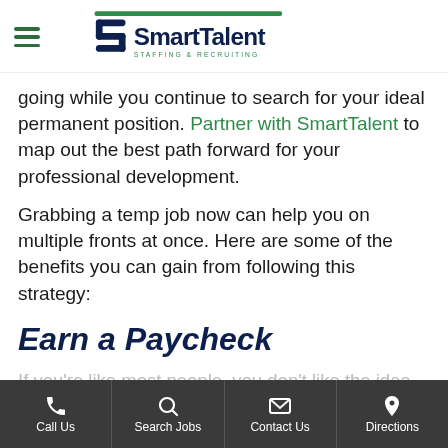SmartTalent Staffing & Recruiting
going while you continue to search for your ideal permanent position. Partner with SmartTalent to map out the best path forward for your professional development.
Grabbing a temp job now can help you on multiple fronts at once. Here are some of the benefits you can gain from following this strategy:
Earn a Paycheck
Call Us | Search Jobs | Contact Us | Directions